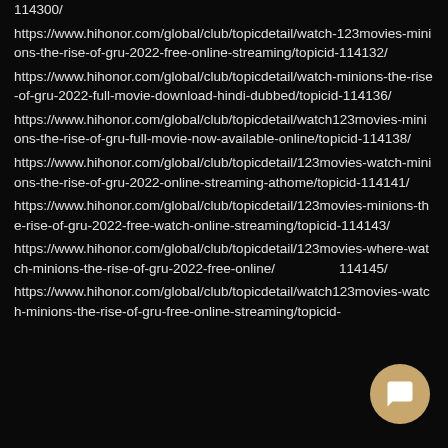114300/
https://www.hihonor.com/global/club/topicdetail/watch-123movies-minions-the-rise-of-gru-2022-free-online-streaming/topicid-114132/
https://www.hihonor.com/global/club/topicdetail/watch-minions-the-rise-of-gru-2022-full-movie-download-hindi-dubbed/topicid-114136/
https://www.hihonor.com/global/club/topicdetail/watch123movies-minions-the-rise-of-gru-full-movie-now-available-online/topicid-114138/
https://www.hihonor.com/global/club/topicdetail/123movies-watch-minions-the-rise-of-gru-2022-online-streaming-athome/topicid-114141/
https://www.hihonor.com/global/club/topicdetail/123movies-minions-the-rise-of-gru-2022-free-watch-online-streaming/topicid-114143/
https://www.hihonor.com/global/club/topicdetail/123movies-where-watch-minions-the-rise-of-gru-2022-free-online/topicid-114145/
https://www.hihonor.com/global/club/topicdetail/watch123movies-watch-minions-the-rise-of-gru-free-online-streaming/topicid-